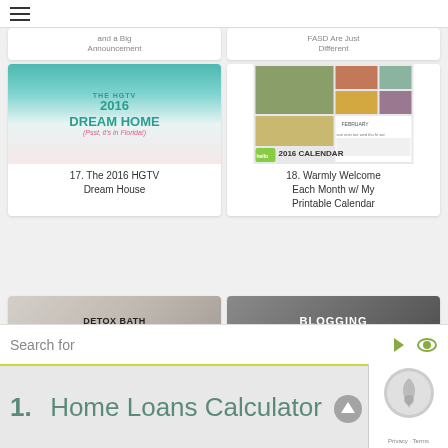Navigation menu / hamburger icon
and a Big Announcement
FASD Are Just Different
[Figure (photo): The 2016 HGTV Dream Home promotional image with teal background and white porch chairs]
17. The 2016 HGTV Dream House
[Figure (photo): 2016 printable calendar cover with flower collage photos]
18. Warmly Welcome Each Month w/ My Printable Calendar
[Figure (photo): Detox Bath Recipes - Relax and Ease the Stress of the Day]
[Figure (photo): Blogging Goals 2016 with dark background image]
Search for
1.  Home Loans Calculator
Privacy · Terms